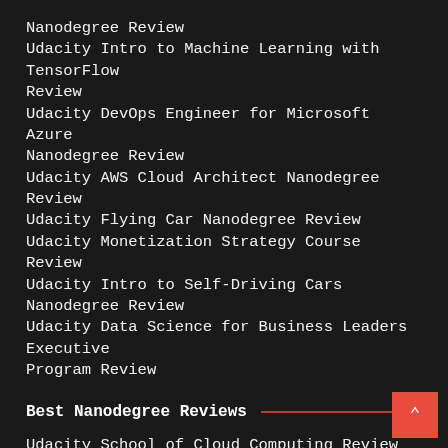Nanodegree Review
Udacity Intro to Machine Learning with TensorFlow Review
Udacity DevOps Engineer for Microsoft Azure Nanodegree Review
Udacity AWS Cloud Architect Nanodegree Review
Udacity Flying Car Nanodegree Review
Udacity Monetization Strategy Course Review
Udacity Intro to Self-Driving Cars Nanodegree Review
Udacity Data Science for Business Leaders Executive Program Review
Best Nanodegree Reviews
Udacity School of Cloud Computing Review Udacity School of Data Science Review Udacity School of Cybersecurity Review Udacity School of Programming Review Udacity Cloud Native Application Architecture